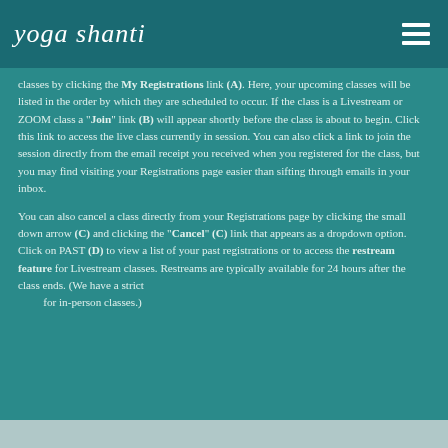yoga shanti
classes by clicking the My Registrations link (A). Here, your upcoming classes will be listed in the order by which they are scheduled to occur. If the class is a Livestream or ZOOM class a "Join" link (B) will appear shortly before the class is about to begin. Click this link to access the live class currently in session. You can also click a link to join the session directly from the email receipt you received when you registered for the class, but you may find visiting your Registrations page easier than sifting through emails in your inbox.
You can also cancel a class directly from your Registrations page by clicking the small down arrow (C) and clicking the "Cancel" (C) link that appears as a dropdown option. Click on PAST (D) to view a list of your past registrations or to access the restream feature for Livestream classes. Restreams are typically available for 24 hours after the class ends. (We have a strict        for in-person classes.)